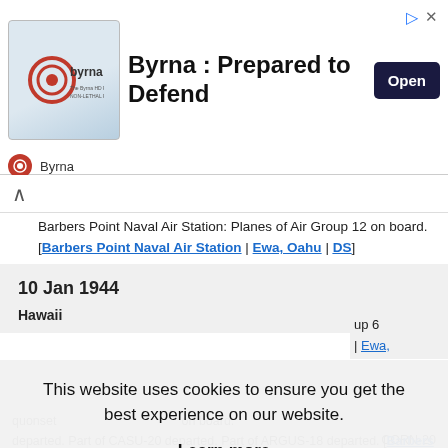[Figure (other): Advertisement banner for Byrna: Prepared to Defend with Open button]
Barbers Point Naval Air Station: Planes of Air Group 12 on board. [Barbers Point Naval Air Station | Ewa, Oahu | DS]
10 Jan 1944
Hawaii
...up 6 ... | Ewa,
This website uses cookies to ensure you get the best experience on our website. Learn more Got it!
quonset ... on board. ... CORN-20 departed. Part of CASU-20 departed. Part of ARGUS-18 departed. [Barbers Point Naval Air Station | Ewa, Oahu | DS]